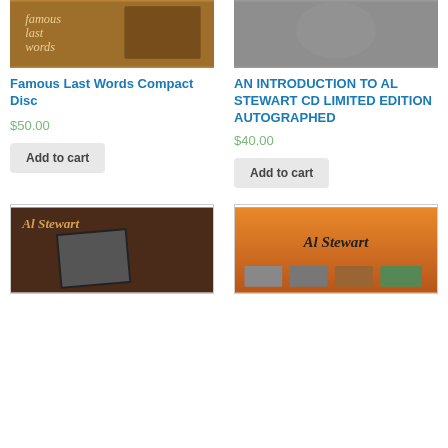[Figure (photo): Album cover for Famous Last Words compact disc showing figures on warm brown background with text 'famous last words']
[Figure (photo): Album cover for An Introduction to Al Stewart CD showing black and white photo of person]
Famous Last Words Compact Disc
$50.00
Add to cart
AN INTRODUCTION TO AL STEWART CD LIMITED EDITION AUTOGRAPHED
$40.00
Add to cart
[Figure (photo): Al Stewart album cover with dark brown leather-look background, text 'Al Stewart' in script and black and white photo inset]
[Figure (photo): Al Stewart album cover with orange background, text 'Al Stewart' in gothic font and small photo thumbnails at bottom]